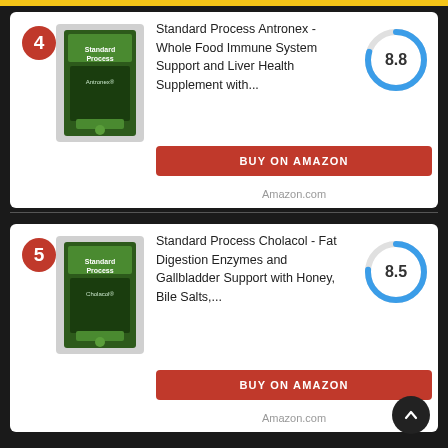[Figure (other): Yellow top navigation bar with Amazon logo arc]
4 - Standard Process Antronex - Whole Food Immune System Support and Liver Health Supplement with... Score: 8.8
BUY ON AMAZON
Amazon.com
5 - Standard Process Cholacol - Fat Digestion Enzymes and Gallbladder Support with Honey, Bile Salts,... Score: 8.5
BUY ON AMAZON
Amazon.com